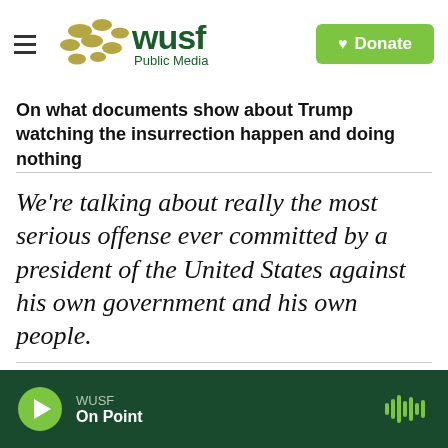[Figure (logo): WUSF Public Media logo with hamburger menu and green Donate button]
On what documents show about Trump watching the insurrection happen and doing nothing
We’re talking about really the most serious offense ever committed by a president of the United States against his own government and his own people.
WUSF On Point (audio player bar)